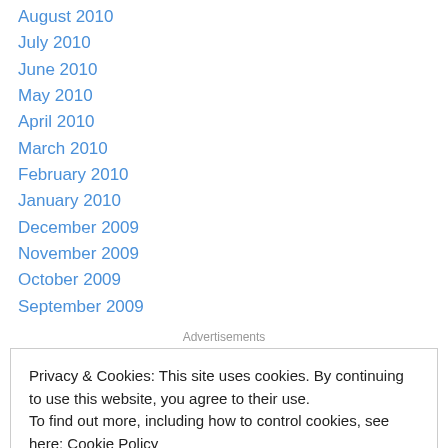August 2010
July 2010
June 2010
May 2010
April 2010
March 2010
February 2010
January 2010
December 2009
November 2009
October 2009
September 2009
Advertisements
Privacy & Cookies: This site uses cookies. By continuing to use this website, you agree to their use. To find out more, including how to control cookies, see here: Cookie Policy
Close and accept
Getting your